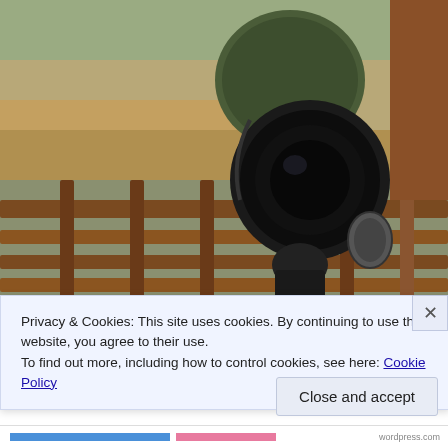[Figure (photo): A spotting scope (green/black) mounted on a tripod on a wooden deck railing, with a sandy riverbank and water visible in the background.]
Privacy & Cookies: This site uses cookies. By continuing to use this website, you agree to their use.
To find out more, including how to control cookies, see here: Cookie Policy
Close and accept